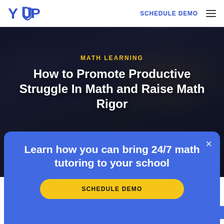YUP | SCHEDULE DEMO
[Figure (photo): Students studying at a table, dark overlay background with hero text. Yellow label reading MATH LEARNING above white title text.]
How to Promote Productive Struggle In Math and Raise Math Rigor
Oc
Th
Learn how you can bring 24/7 math tutoring to your school
SCHEDULE DEMO